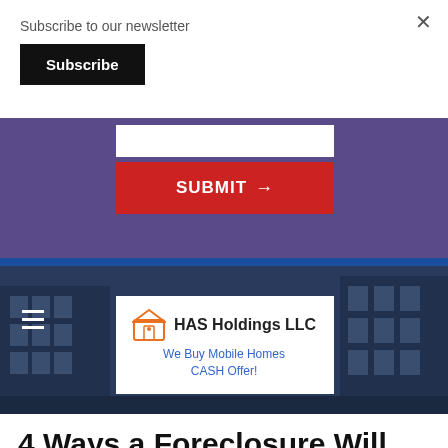Subscribe to our newsletter
Subscribe
[Figure (screenshot): Purple newsletter signup banner with white input field and red SUBMIT button with arrow]
[Figure (infographic): HAS Holdings LLC advertisement on dark blue building background. Logo with house icon. Text: We Buy Mobile Homes CASH Offer!]
4 Ways a Foreclosure Will Impact You in Augusta